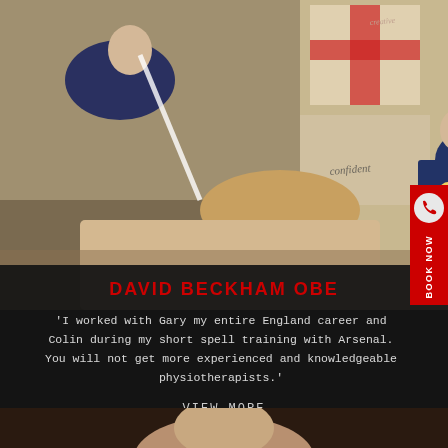[Figure (photo): Physiotherapist treating a patient's leg/knee in a sports medicine room, with England football staff observing. England football posters visible in background.]
DAVID BECKHAM OBE
'I worked with Gary my entire England career and Colin during my short spell training with Arsenal. You will not get more experienced and knowledgeable physiotherapists.'
VIEW MORE
[Figure (photo): Partial photo of another person visible at bottom of page.]